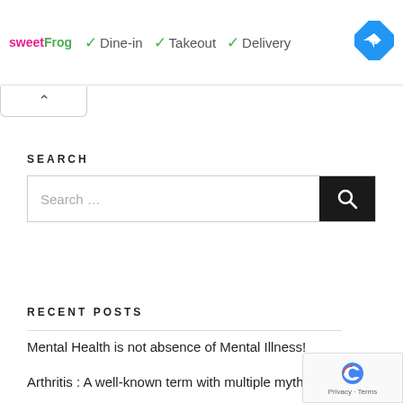[Figure (screenshot): sweetFrog ad banner with Dine-in, Takeout, Delivery checkmarks and navigation diamond icon]
[Figure (screenshot): Play and close icons below the ad banner]
[Figure (screenshot): Collapse/up-arrow tab button]
SEARCH
[Figure (screenshot): Search input box with search button]
RECENT POSTS
Mental Health is not absence of Mental Illness!
Arthritis : A well-known term with multiple myths
[Figure (logo): Google reCAPTCHA badge with Privacy and Terms links]